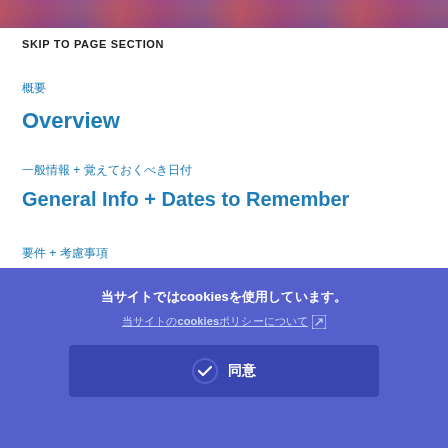[Figure (photo): Top banner image with colorful background, partially visible]
SKIP TO PAGE SECTION
概要
Overview
一般情報 + 覚えておくべき日付
General Info + Dates to Remember
要件 + 考慮事項
Requirements + Considerations
申し込み手続
当サイトではcookiesを使用しています。
当サイトのcookiesポリシーについて ↗
✓ 同意